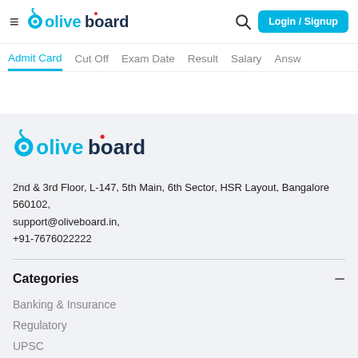oliveboard — Login / Signup
Admit Card
Cut Off
Exam Date
Result
Salary
Answe
[Figure (logo): Oliveboard logo with blue droplet icon and text 'oliveboard' in blue, with red dot on 'i']
2nd & 3rd Floor, L-147, 5th Main, 6th Sector, HSR Layout, Bangalore 560102, support@oliveboard.in, +91-7676022222
Categories
Banking & Insurance
Regulatory
UPSC
MBA Exams